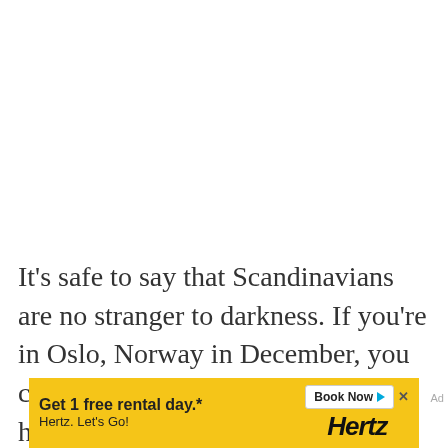It's safe to say that Scandinavians are no stranger to darkness. If you're in Oslo, Norway in December, you can expect the days to be only five hours long between
[Figure (other): Advertisement banner for Hertz car rental. Yellow background with bold text 'Get 1 free rental day.*' and 'Hertz. Let's Go!' on the left, and a 'Book Now' button with play icon and the Hertz logo on the right.]